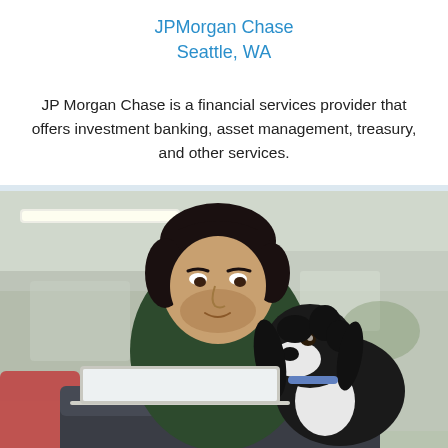JPMorgan Chase
Seattle, WA
JP Morgan Chase is a financial services provider that offers investment banking, asset management, treasury, and other services.
[Figure (photo): A man with dark hair wearing a dark green shirt sitting with a black and white dog (appears to be a Cocker Spaniel) that is looking up at him, with a laptop in front on a desk in an office setting.]